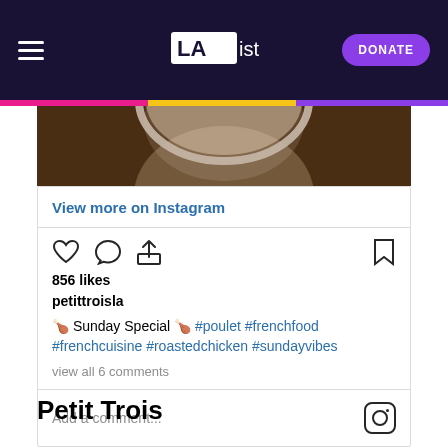LAist — DONATE
[Figure (photo): Partial view of a roasted chicken on a plate with dark wood background]
View more on Instagram
856 likes
petittroisla
🍗 Sunday Special 🍗 #poulet #frenchfood #frenchcuisine #roastedchicken #sundayvibes
view all 6 comments
Add a comment...
Petit Trois